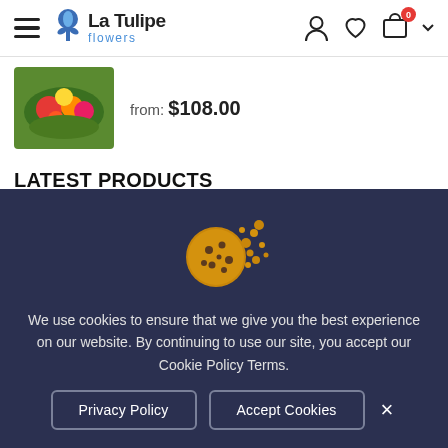La Tulipe flowers
from: $108.00
LATEST PRODUCTS
Grand Beauty
from: $210.00
[Figure (screenshot): Cookie consent banner with cookie icon, policy text, Privacy Policy button, Accept Cookies button, and close X button on dark navy background]
We use cookies to ensure that we give you the best experience on our website. By continuing to use our site, you accept our Cookie Policy Terms.
Privacy Policy
Accept Cookies